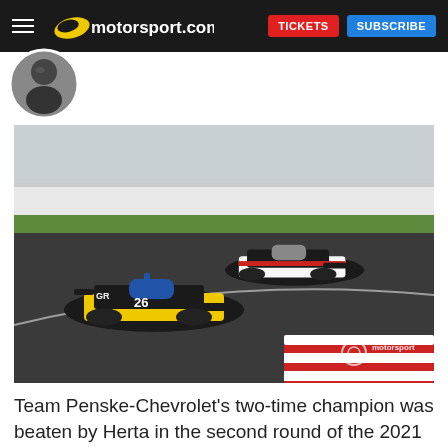motorsport.com | TICKETS | SUBSCRIBE
[Figure (photo): Two IndyCar open-wheel racing cars on a street circuit. The leading car is black and yellow (#26) with GRC livery, followed by a white and red car. Motorsport Images watermark visible. Photo taken at the 2021 IndyCar second round.]
Team Penske-Chevrolet's two-time champion was beaten by Herta in the second round of the 2021